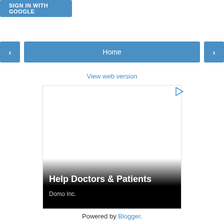[Figure (screenshot): Sign in with Google button (blue rounded rectangle)]
[Figure (screenshot): Navigation bar with left arrow, Home button, and right arrow, all in blue]
View web version
[Figure (screenshot): Advertisement box with white upper area, gradient to black, text 'Help Doctors & Patients' and 'Domo Inc.' with a play icon in top right corner]
Powered by Blogger.